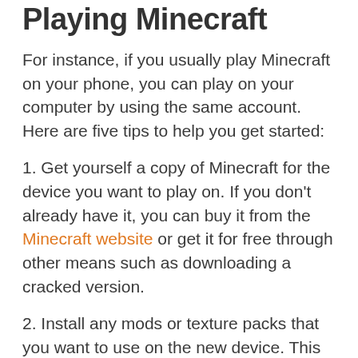Playing Minecraft
For instance, if you usually play Minecraft on your phone, you can play on your computer by using the same account. Here are five tips to help you get started:
1. Get yourself a copy of Minecraft for the device you want to play on. If you don't already have it, you can buy it from the Minecraft website or get it for free through other means such as downloading a cracked version.
2. Install any mods or texture packs that you want to use on the new device. This step is optional, but if you want to use the same mods and textures that you're used to it's best to install them on the new device.